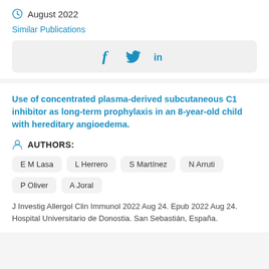August 2022
Similar Publications
[Figure (other): Social media sharing icons: Facebook (f), Twitter (bird), LinkedIn (in)]
Use of concentrated plasma-derived subcutaneous C1 inhibitor as long-term prophylaxis in an 8-year-old child with hereditary angioedema.
AUTHORS:
E M Lasa
L Herrero
S Martínez
N Arruti
P Oliver
A Joral
J Investig Allergol Clin Immunol 2022 Aug 24. Epub 2022 Aug 24.
Hospital Universitario de Donostia. San Sebastián, España.